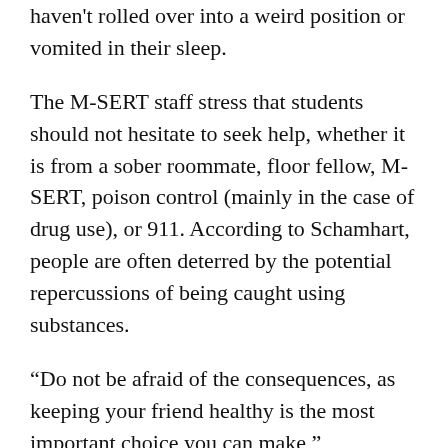haven't rolled over into a weird position or vomited in their sleep.
The M-SERT staff stress that students should not hesitate to seek help, whether it is from a sober roommate, floor fellow, M-SERT, poison control (mainly in the case of drug use), or 911. According to Schamhart, people are often deterred by the potential repercussions of being caught using substances.
“Do not be afraid of the consequences, as keeping your friend healthy is the most important choice you can make,” Schamhart advises. If you’re not in a condition where you can provide that care, it’s your responsibility to find someone who can.